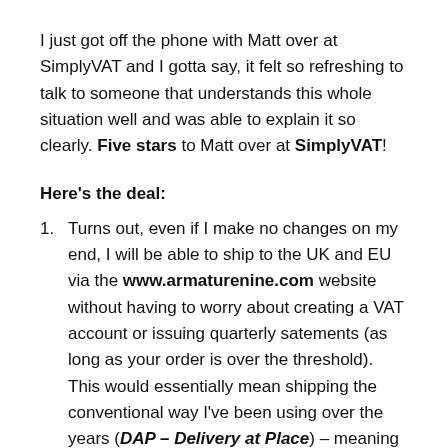I just got off the phone with Matt over at SimplyVAT and I gotta say, it felt so refreshing to talk to someone that understands this whole situation well and was able to explain it so clearly. Five stars to Matt over at SimplyVAT!
Here's the deal:
Turns out, even if I make no changes on my end, I will be able to ship to the UK and EU via the www.armaturenine.com website without having to worry about creating a VAT account or issuing quarterly satements (as long as your order is over the threshold). This would essentially mean shipping the conventional way I've been using over the years (DAP – Delivery at Place) – meaning that you (the customer) is responsible for paying your country's VAT when collecting your package. I will